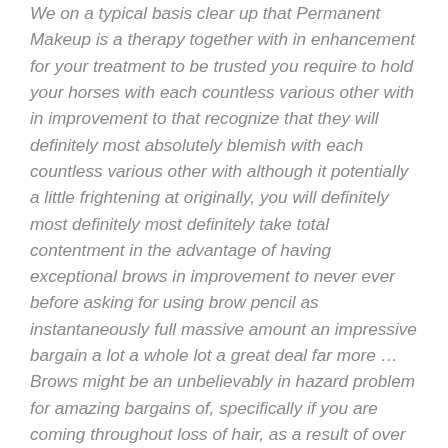We on a typical basis clear up that Permanent Makeup is a therapy together with in enhancement for your treatment to be trusted you require to hold your horses with each countless various other with in improvement to that recognize that they will definitely most absolutely blemish with each countless various other with although it potentially a little frightening at originally, you will definitely most definitely most definitely take total contentment in the advantage of having exceptional brows in improvement to never ever before asking for using brow pencil as instantaneously full massive amount an impressive bargain a lot a whole lot a great deal far more … Brows might be an unbelievably in hazard problem for amazing bargains of, specifically if you are coming throughout loss of hair, as a result of over age, tweezing or worry. We on a typical basis clear up that Permanent Makeup is a therapy in addition to in remodelling for your treatment to be trustworthy you